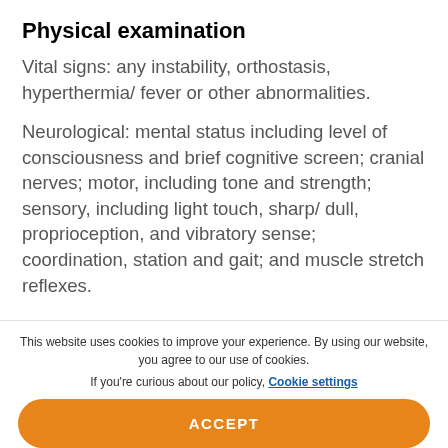Physical examination
Vital signs: any instability, orthostasis, hyperthermia/ fever or other abnormalities.
Neurological: mental status including level of consciousness and brief cognitive screen; cranial nerves; motor, including tone and strength; sensory, including light touch, sharp/ dull, proprioception, and vibratory sense; coordination, station and gait; and muscle stretch reflexes.
This website uses cookies to improve your experience. By using our website, you agree to our use of cookies. If you're curious about our policy, Cookie settings
ACCEPT